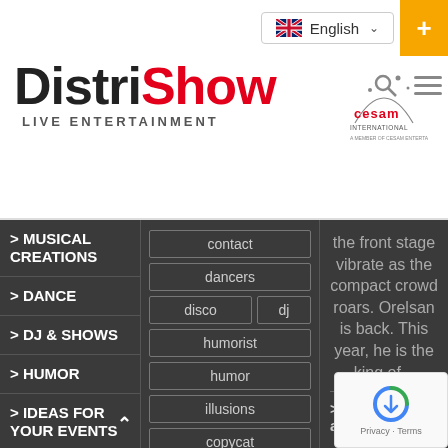[Figure (logo): DistriShow Live Entertainment logo with Cesam International logo, language selector showing English with UK flag, search and menu icons, plus button]
> MUSICAL CREATIONS
> DANCE
> DJ & SHOWS
> HUMOR
> IDEAS FOR YOUR EVENTS
contact
dancers
disco
dj
humorist
humor
illusions
copycat
jazz
the front stage vibrate as the compact crowd roars. Orelsan is back. This year, he is the king of...
> An a... and a show